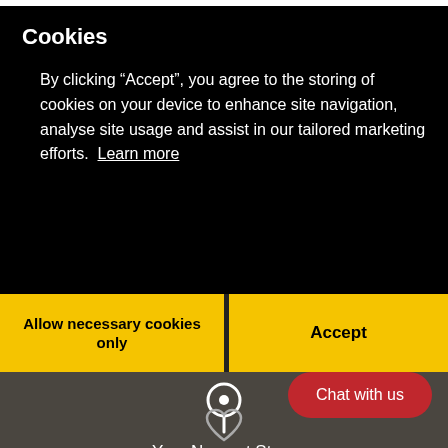Cookies
By clicking “Accept”, you agree to the storing of cookies on your device to enhance site navigation, analyse site usage and assist in our tailored marketing efforts. Learn more
Allow necessary cookies only
Accept
[Figure (infographic): Location pin icon above 'Your Nearest Store' text on dark background]
Your Nearest Store
Chat with us
[Figure (illustration): Heart/wishlist icon at bottom center on dark background]